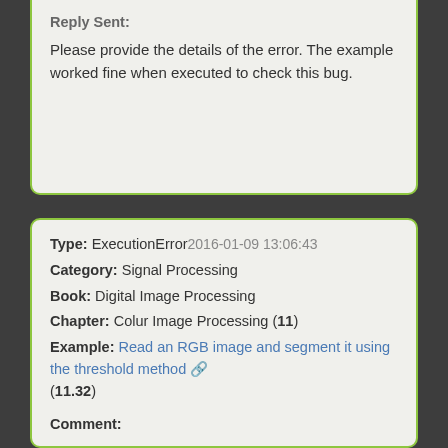Reply Sent:
Please provide the details of the error. The example worked fine when executed to check this bug.
Type: ExecutionError 2016-01-09 13:06:43
Category: Signal Processing
Book: Digital Image Processing
Chapter: Colur Image Processing (11)
Example: Read an RGB image and segment it using the threshold method (11.32)
Comment:
Reply Sent:
You have to execute the code on the local machine. Change the path of the image filename to the path of the image file on the local machine.